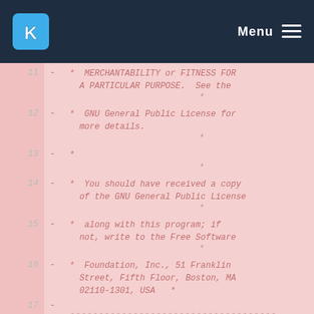KDE Menu
11  -  *  MERCHANTABILITY or FITNESS FOR A PARTICULAR PURPOSE.  See the
     *
12  -  *  GNU General Public License for more details.
     *
13  -  *
     *
14  -  *  You should have received a copy of the GNU General Public License
     *
15  -  *  along with this program; if not, write to the Free Software
     *
16  -  *  Foundation, Inc., 51 Franklin Street, Fifth Floor, Boston, MA 02110-1301, USA   *
17  -
     ************************************